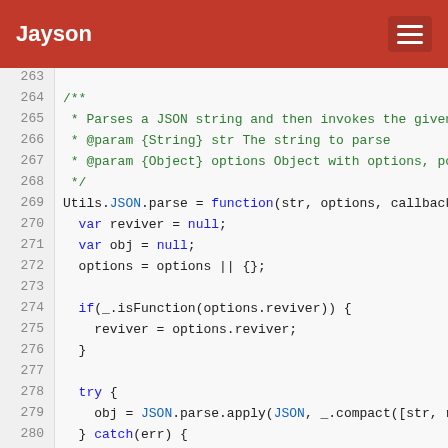Jayson
[Figure (screenshot): Source code viewer showing JavaScript code lines 263-289 with syntax highlighting on a light background. Line numbers on left, code on right. Keywords in blue, comments in green, identifiers in dark.]